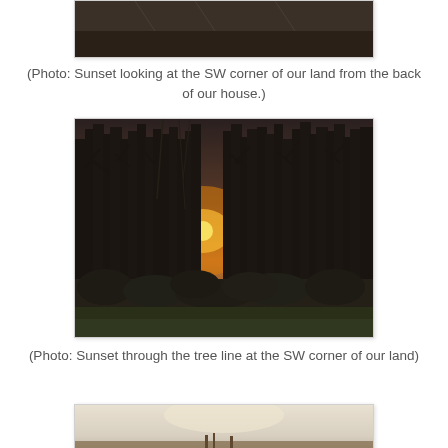[Figure (photo): Partial view of a sunset photo showing the SW corner of the land from the back of the house, cropped at the top of the page]
(Photo: Sunset looking at the SW corner of our land from the back of our house.)
[Figure (photo): Photo of sunset through the tree line at the SW corner of the land, showing bare trees silhouetted against a warm glowing sky with sun visible through the branches and green grass at the bottom]
(Photo: Sunset through the tree line at the SW corner of our land)
[Figure (photo): Partial view of another sunset photo, showing a pale sky with a faint silhouette of landscape at the bottom, cropped at the page edge]